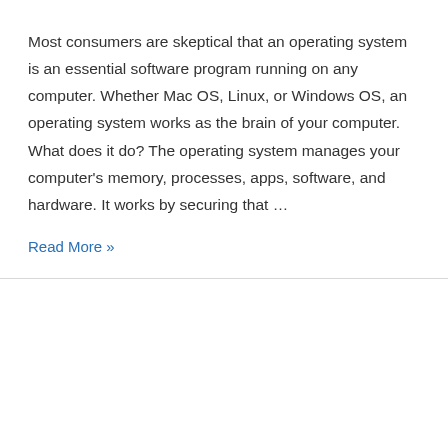Most consumers are skeptical that an operating system is an essential software program running on any computer. Whether Mac OS, Linux, or Windows OS, an operating system works as the brain of your computer. What does it do? The operating system manages your computer's memory, processes, apps, software, and hardware. It works by securing that …
Read More »
[Figure (illustration): Shopping cart icon badge with count 0 overlaid on blank white image area]
Windows Server 2019: Server Core and Desktop Experience